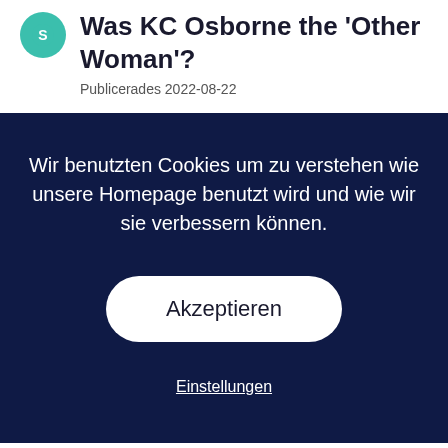Was KC Osborne the 'Other Woman'?
Publicerades 2022-08-22
Wir benutzten Cookies um zu verstehen wie unsere Homepage benutzt wird und wie wir sie verbessern können.
Akzeptieren
Einstellungen